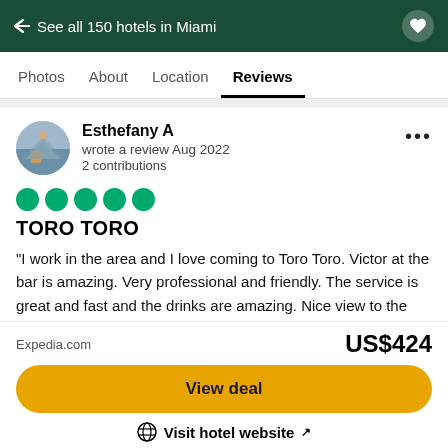← See all 150 hotels in Miami
Photos   About   Location   Reviews
Esthefany A
wrote a review Aug 2022
2 contributions
[Figure (other): 5 green filled circle rating dots]
TORO TORO
"I work in the area and I love coming to Toro Toro. Victor at the bar is amazing. Very professional and friendly. The service is great and fast and the drinks are amazing. Nice view to the Bayview, very nice area to visit."
Expedia.com
US$424
View deal
Visit hotel website ↗